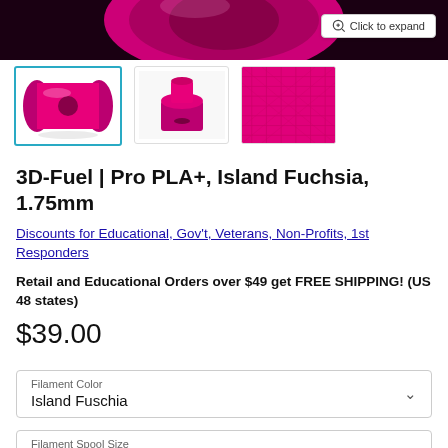[Figure (photo): Top portion of a pink/fuchsia 3D printer filament spool on dark background, with a 'Click to expand' button in the top right corner]
[Figure (photo): Three product thumbnail images: first (selected, highlighted in teal border) shows a full pink filament spool on white background; second shows a smaller view of the spool from above; third shows a close-up of the fuchsia/pink filament texture]
3D-Fuel | Pro PLA+, Island Fuchsia, 1.75mm
Discounts for Educational, Gov't, Veterans, Non-Profits, 1st Responders
Retail and Educational Orders over $49 get FREE SHIPPING! (US 48 states)
$39.00
Filament Color
Island Fuschia
Filament Spool Size